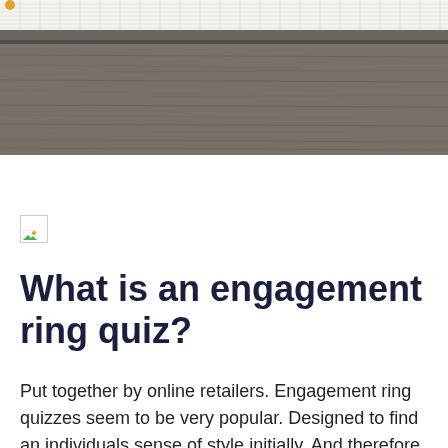[Figure (photo): Dark wooden surface or architectural detail, appearing as a textured grey-brown horizontal band at the top of the page. A grid/graph paper is partially visible at the very top.]
[Figure (other): Broken/missing image placeholder icon — small square with white background, light border, and a small green/blue mountain-and-sun thumbnail icon in the corner.]
What is an engagement ring quiz?
Put together by online retailers. Engagement ring quizzes seem to be very popular. Designed to find an individuals sense of style initially. And therefore recommending different engagement rings based on multi-choice